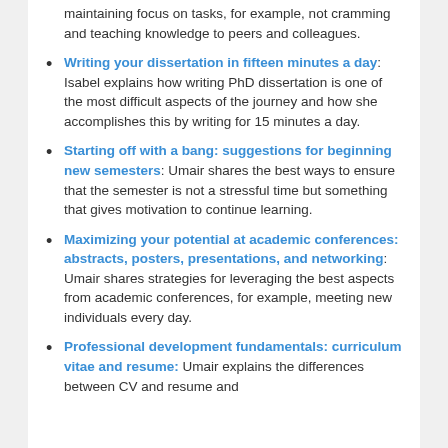maintaining focus on tasks, for example, not cramming and teaching knowledge to peers and colleagues.
Writing your dissertation in fifteen minutes a day: Isabel explains how writing PhD dissertation is one of the most difficult aspects of the journey and how she accomplishes this by writing for 15 minutes a day.
Starting off with a bang: suggestions for beginning new semesters: Umair shares the best ways to ensure that the semester is not a stressful time but something that gives motivation to continue learning.
Maximizing your potential at academic conferences: abstracts, posters, presentations, and networking: Umair shares strategies for leveraging the best aspects from academic conferences, for example, meeting new individuals every day.
Professional development fundamentals: curriculum vitae and resume: Umair explains the differences between CV and resume and